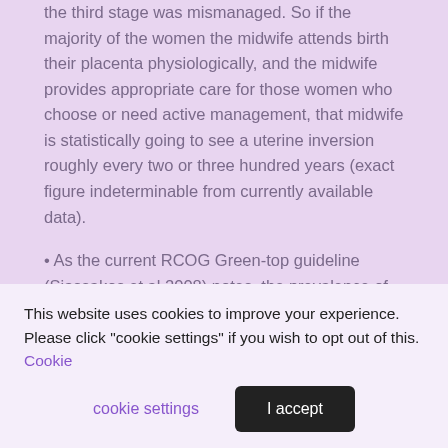the third stage was mismanaged. So if the majority of the women the midwife attends birth their placenta physiologically, and the midwife provides appropriate care for those women who choose or need active management, that midwife is statistically going to see a uterine inversion roughly every two or three hundred years (exact figure indeterminable from currently available data).
• As the current RCOG Green-top guideline (Siassakos et al 2008) notes, the prevalence of cord prolapse also varies a bit from about 1 in 1000 to 6 in 1000 but a good study on which to base cord prolapse figures (whose results also happen to be roughly in the middle of the general variation) is that by Haire & Elsberry (1991) which focused on midwifery led care in the North Bronx. The rate of cord prolapse in this research was 0.3% (1 in 3000) so midwives attending 25 home births a year will, on
This website uses cookies to improve your experience. Please click "cookie settings" if you wish to opt out of this. Cookie settings | I accept